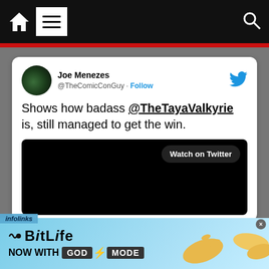[Figure (screenshot): Website navigation bar with home icon, hamburger menu, and search icon on black background]
[Figure (screenshot): Embedded tweet from @TheComicConGuy (Joe Menezes) with text: 'Shows how badass @TheTayaValkyrie is, still managed to get the win.' with a black video embed showing 'Watch on Twitter' button]
[Figure (screenshot): Advertisement banner for BitLife 'NOW WITH GOD MODE' on light blue background with cartoon hands graphic. Infolinks label in top-left corner.]